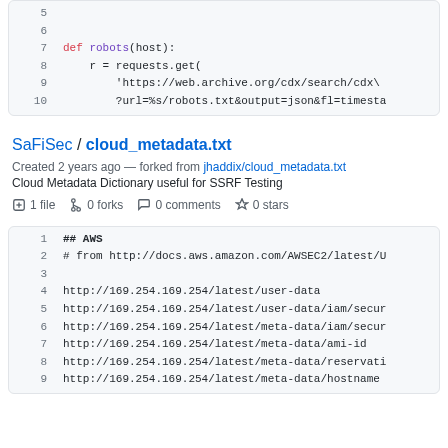[Figure (screenshot): Code snippet showing lines 5-10 of a Python function 'robots(host)' making a requests.get call to a web.archive.org CDX URL]
SaFiSec / cloud_metadata.txt
Created 2 years ago — forked from jhaddix/cloud_metadata.txt
Cloud Metadata Dictionary useful for SSRF Testing
1 file   0 forks   0 comments   0 stars
[Figure (screenshot): Code file showing lines 1-9 of cloud_metadata.txt with AWS section header and http://169.254.169.254/latest/ URLs]